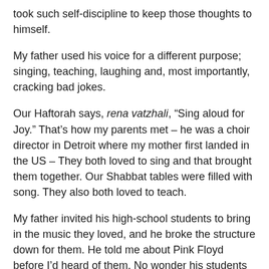took such self-discipline to keep those thoughts to himself.
My father used his voice for a different purpose; singing, teaching, laughing and, most importantly, cracking bad jokes.
Our Haftorah says, rena vatzhali, “Sing aloud for Joy.” That’s how my parents met – he was a choir director in Detroit where my mother first landed in the US – They both loved to sing and that brought them together. Our Shabbat tables were filled with song. They also both loved to teach.
My father invited his high-school students to bring in the music they loved, and he broke the structure down for them. He told me about Pink Floyd before I’d heard of them. No wonder his students loved him.
I sang in a high holiday choir with my father since I was 9 years told – first, soprano, then alto, and finally bass.
After my father passed away, a man who sang in my father’s choir sent me a wonderful card. I called him and we reminisced